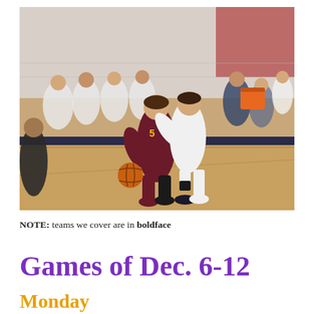[Figure (photo): Girls basketball game action photo showing a player in a maroon Harlandale jersey number 5 dribbling the ball while being defended by a player in white, with team benches visible in the background in a gymnasium.]
NOTE: teams we cover are in boldface
Games of Dec. 6-12
Monday